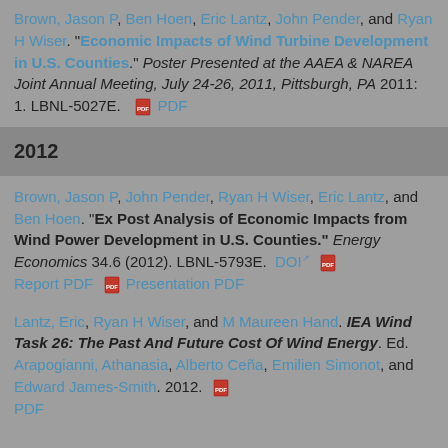Brown, Jason P, Ben Hoen, Eric Lantz, John Pender, and Ryan H Wiser. "Economic Impacts of Wind Turbine Development in U.S. Counties." Poster Presented at the AAEA & NAREA Joint Annual Meeting, July 24-26, 2011, Pittsburgh, PA 2011: 1. LBNL-5027E. PDF
2012
Brown, Jason P, John Pender, Ryan H Wiser, Eric Lantz, and Ben Hoen. "Ex Post Analysis of Economic Impacts from Wind Power Development in U.S. Counties." Energy Economics 34.6 (2012). LBNL-5793E. DOI Report PDF Presentation PDF
Lantz, Eric, Ryan H Wiser, and M Maureen Hand. IEA Wind Task 26: The Past And Future Cost Of Wind Energy. Ed. Arapogianni, Athanasia, Alberto Ceña, Emilien Simonot, and Edward James-Smith. 2012. PDF